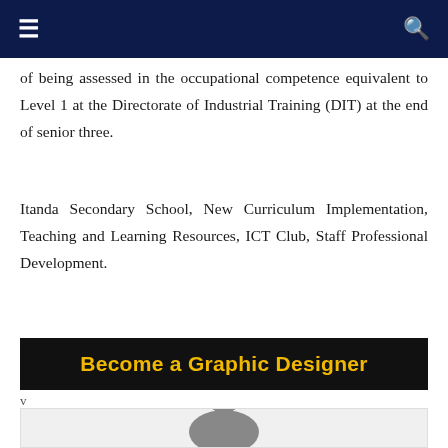Navigation bar with hamburger menu and search icon
of being assessed in the occupational competence equivalent to Level 1 at the Directorate of Industrial Training (DIT) at the end of senior three.
Itanda Secondary School, New Curriculum Implementation, Teaching and Learning Resources, ICT Club, Staff Professional Development.
[Figure (other): Black banner with bold yellow text reading 'Become a Graphic Designer']
v
[Figure (photo): Partial photo of a person with dreadlocks visible at the bottom of the page, black and white image]